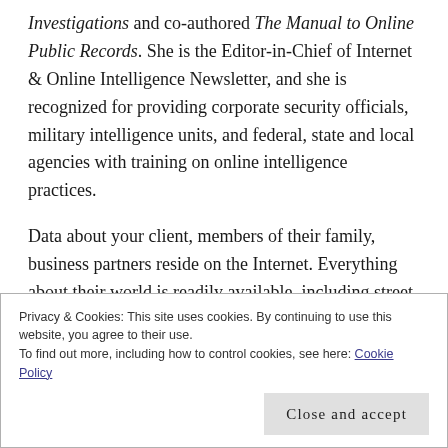Investigations and co-authored The Manual to Online Public Records. She is the Editor-in-Chief of Internet & Online Intelligence Newsletter, and she is recognized for providing corporate security officials, military intelligence units, and federal, state and local agencies with training on online intelligence practices.
Data about your client, members of their family, business partners reside on the Internet. Everything about their world is readily available, including street level and satellite images of their residences, credit records,
Privacy & Cookies: This site uses cookies. By continuing to use this website, you agree to their use.
To find out more, including how to control cookies, see here: Cookie Policy
Close and accept